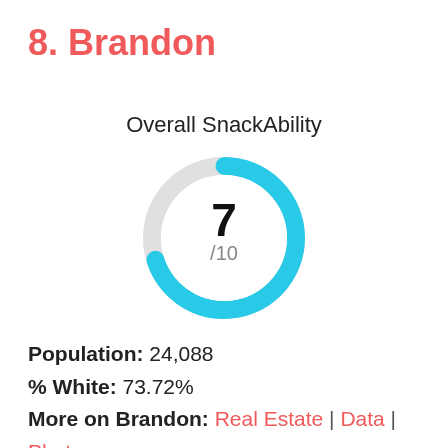8. Brandon
Overall SnackAbility
[Figure (donut-chart): Overall SnackAbility]
Population: 24,088
% White: 73.72%
More on Brandon: Real Estate | Data | Photos